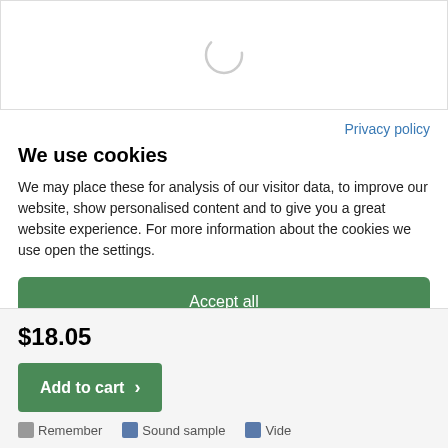[Figure (other): Loading spinner circle graphic in a white bordered box area]
Privacy policy
We use cookies
We may place these for analysis of our visitor data, to improve our website, show personalised content and to give you a great website experience. For more information about the cookies we use open the settings.
Accept all
Deny
No, adjust...
$18.05
Add to cart
Remember   Sound sample   Video